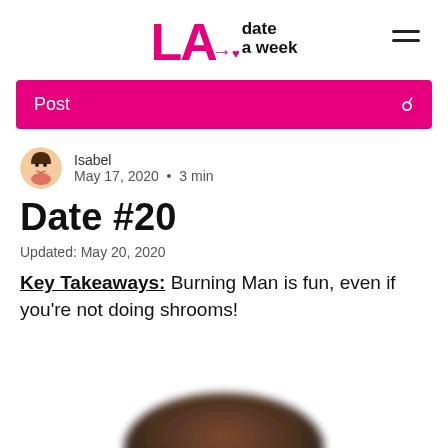LA date a week — navigation header with hamburger menu
Post
Isabel
May 17, 2020  •  3 min
Date #20
Updated: May 20, 2020
Key Takeaways: Burning Man is fun, even if you're not doing shrooms!
[Figure (photo): Blurred bottom portion of a person's head with dark hair visible at the bottom of the page]